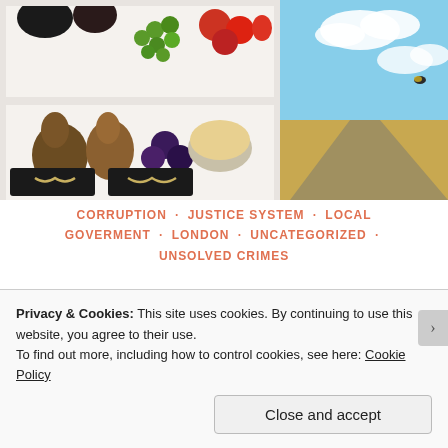[Figure (illustration): A painting showing a fruit and food arrangement on shelves on the left side, and a landscape scene with sky and road on the right side.]
CORRUPTION · JUSTICE SYSTEM · LOCAL GOVERMENT · LONDON · UNCATEGORIZED · UNSOLVED CRIMES
COPLAND COMMUNITY SCHOOL. FRAUD & THE TORIES
Privacy & Cookies: This site uses cookies. By continuing to use this website, you agree to their use.
To find out more, including how to control cookies, see here: Cookie Policy
Close and accept